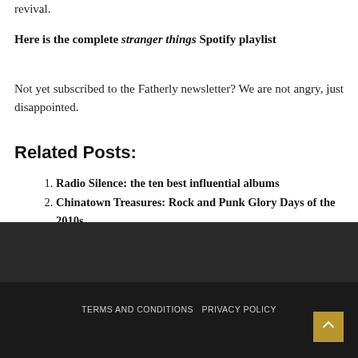revival.
Here is the complete stranger things Spotify playlist
Not yet subscribed to the Fatherly newsletter? We are not angry, just disappointed.
Related Posts:
Radio Silence: the ten best influential albums
Chinatown Treasures: Rock and Punk Glory Days of the 2010s
The 20 greatest Rob Zombie songs – ranked — Kerrang!
Houston concerts: Tejas Brothers, 'Rocky Horror' Live
TERMS AND CONDITIONS   PRIVACY POLICY